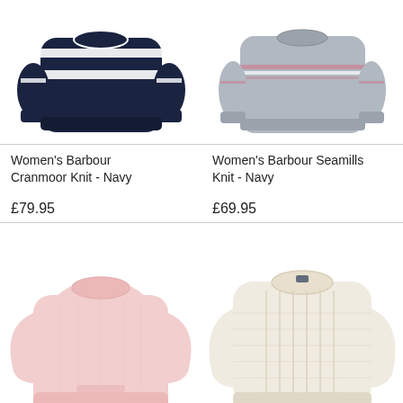[Figure (photo): Women's Barbour Cranmoor Knit - Navy sweater, navy blue with white stripes and wave pattern]
[Figure (photo): Women's Barbour Seamills Knit - Navy sweater, grey marl with pink and white stripes]
Women's Barbour Cranmoor Knit - Navy
£79.95
Women's Barbour Seamills Knit - Navy
£69.95
[Figure (photo): Women's pink cable knit crew-neck sweater]
[Figure (photo): Cream/off-white cable knit crew-neck sweater]